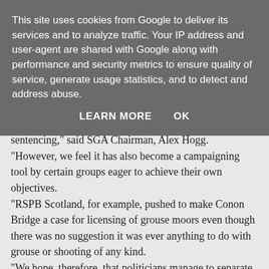This site uses cookies from Google to deliver its services and to analyze traffic. Your IP address and user-agent are shared with Google along with performance and security metrics to ensure quality of service, generate usage statistics, and to detect and address abuse.
LEARN MORE   OK
sentencing,” said SGA Chairman, Alex Hogg. “However, we feel it has also become a campaigning tool by certain groups eager to achieve their own objectives. “RSPB Scotland, for example, pushed to make Conon Bridge a case for licensing of grouse moors even though there was no suggestion it was ever anything to do with grouse or shooting of any kind. “We hope, therefore, that politicians manage to separate Conon Bridge from what the possible implications are of having two campaigning charities, SSPCA and RSPB, neither of whom have the same accountability as Police, involved in the delivery of justice. The two issues should not be conflated. “There is certainly no argument to suggest having SSPCA inspectors, with the same evidence to work with as the Police,